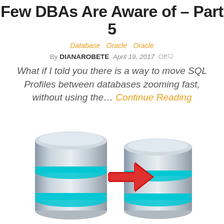Few DBAs Are Aware of – Part 5
Database  Oracle  Oracle
By DIANAROBETE  April 19, 2017  Off
What if I told you there is a way to move SQL Profiles between databases zooming fast, without using the… Continue Reading
[Figure (illustration): Two silver metallic database cylinder icons with cyan/teal ring highlights, connected by a large red arrow pointing from the left database to the right database, symbolizing data transfer or migration between databases.]